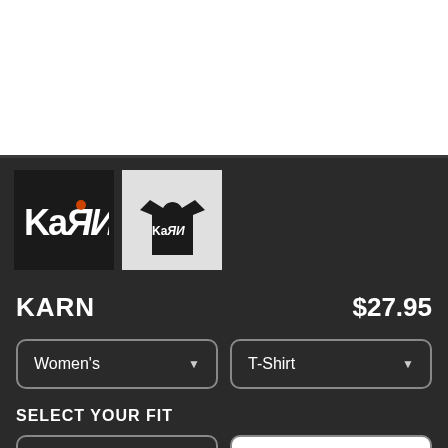[Figure (photo): White product image area at top of page (cropped/partially visible)]
[Figure (photo): Two thumbnail images: a dark black thumbnail with Korn logo text and a light/white thumbnail showing a black t-shirt with Korn logo]
KARN
$27.95
Women's
T-Shirt
SELECT YOUR FIT
$22.45
Fitted
$27.95
Extra Soft